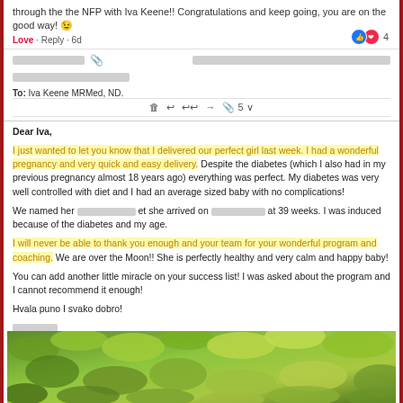through the the NFP with Iva Keene!! Congratulations and keep going, you are on the good way! 😉
Love · Reply · 6d  [reaction: 4 likes/loves]
To: Iva Keene MRMed, ND.
Dear Iva,
I just wanted to let you know that I delivered our perfect girl last week. I had a wonderful pregnancy and very quick and easy delivery. Despite the diabetes (which I also had in my previous pregnancy almost 18 years ago) everything was perfect. My diabetes was very well controlled with diet and I had an average sized baby with no complications!
We named her [redacted] et she arrived on [redacted] at 39 weeks. I was induced because of the diabetes and my age.
I will never be able to thank you enough and your team for your wonderful program and coaching. We are over the Moon!! She is perfectly healthy and very calm and happy baby!
You can add another little miracle on your success list! I was asked about the program and I cannot recommend it enough!
Hvala puno I svako dobro!
[Figure (photo): Photo of green leafy plants/foliage, appears to be a nature or garden photograph at the bottom of the page]